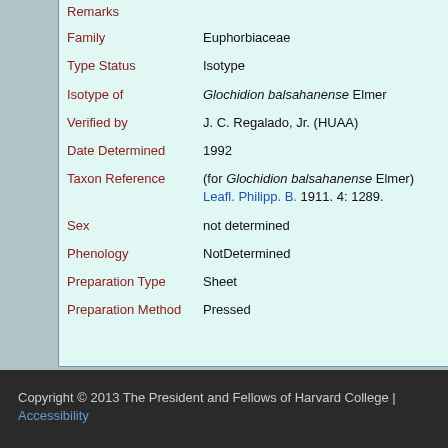| Field | Value |
| --- | --- |
| Remarks |  |
| Family | Euphorbiaceae |
| Type Status | Isotype |
| Isotype of | Glochidion balsahanense Elmer |
| Verified by | J. C. Regalado, Jr. (HUAA) |
| Date Determined | 1992 |
| Taxon Reference | (for Glochidion balsahanense Elmer) Leafl. Philipp. B. 1911. 4: 1289. |
| Sex | not determined |
| Phenology | NotDetermined |
| Preparation Type | Sheet |
| Preparation Method | Pressed |
Copyright © 2013 The President and Fellows of Harvard College | Accessibility